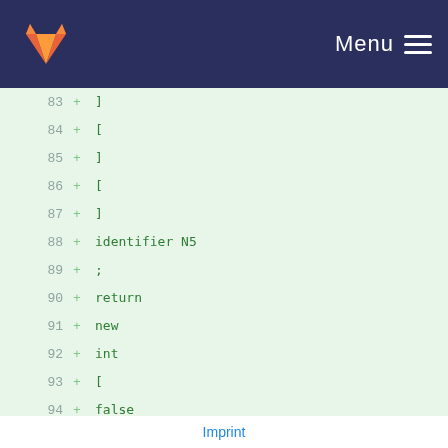Menu
[Figure (screenshot): Code diff view showing lines 83-101 with + markers indicating added lines containing tokens: ], [, ], [, ], identifier N5, ;, return, new, int, [, false, ], ;, void, identifier oJBvQ, =, !, false]
Imprint